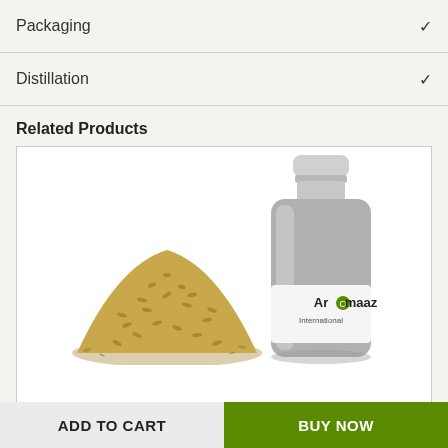Packaging
Distillation
Related Products
[Figure (photo): Product card showing Ajwain Essential Oil: a pile of ajwain seeds on the left and a silver aluminum bottle with Aromaaz International label on the right, on a white background.]
Ajwain Essential Oil
ADD TO CART
BUY NOW